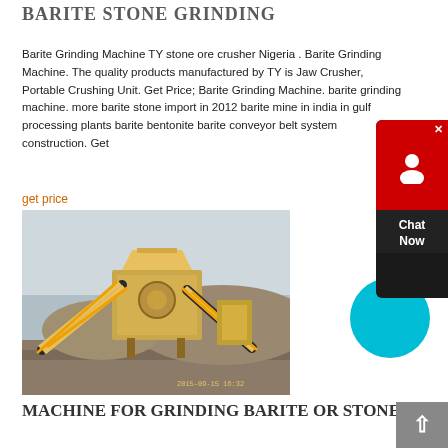BARITE STONE GRINDING
Barite Grinding Machine TY stone ore crusher Nigeria . Barite Grinding Machine. The quality products manufactured by TY is Jaw Crusher, Portable Crushing Unit. Get Price; Barite Grinding Machine. barite grinding machine. more barite stone import in 2012 barite mine in india in gulf processing plants barite bentonite barite conveyor belt system construction. Get
get price
[Figure (photo): Photograph of a large yellow industrial stone crushing/grinding machine setup at an outdoor quarry site with conveyors and hoppers, gravel on ground, overcast sky.]
MACHINE FOR GRINDING BARITE OR STONE